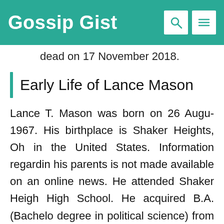Gossip Gist
dead on 17 November 2018.
Early Life of Lance Mason
Lance T. Mason was born on 26 August 1967. His birthplace is Shaker Heights, Ohio in the United States. Information regarding his parents is not made available on any online news. He attended Shaker Heights High School. He acquired B.A. (Bachelor degree in political science) from the College of Wooster. He attended th